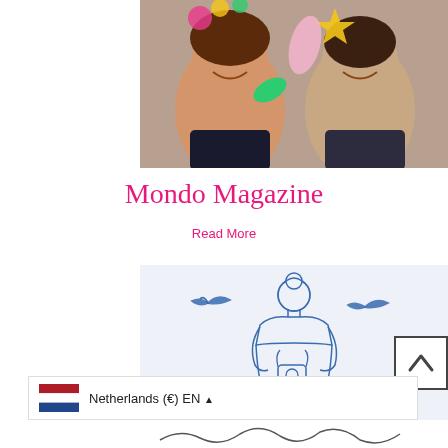[Figure (photo): Two smiling women holding decorative props/masks in front of their faces, colorful festive photo]
Mondo Magazine
Read More
[Figure (illustration): Blue line illustration of a woman seen from behind, holding a camera, with two swallows/birds flying around her, on a light blue-grey background]
[Figure (illustration): Back-to-top button with upward chevron arrow in a square border]
Netherlands (€) EN ▲
[Figure (illustration): Partial cursive/signature text visible at bottom of page]